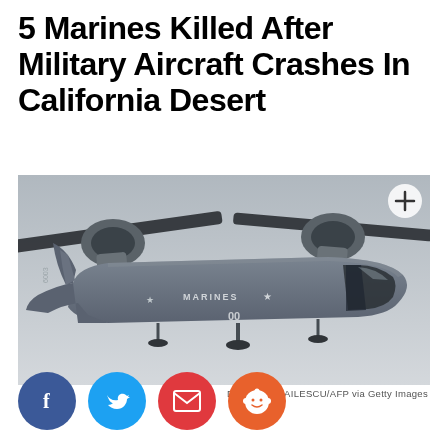5 Marines Killed After Military Aircraft Crashes In California Desert
[Figure (photo): A gray Marine Corps MV-22 Osprey tiltrotor aircraft in flight, with rotors tilted upward in helicopter mode. The fuselage shows 'MARINES' text and star insignia, tail number 6003, and '00' markings. A circle with a plus symbol appears in the upper right corner of the image.]
DANIEL MIHAILESCU/AFP via Getty Images